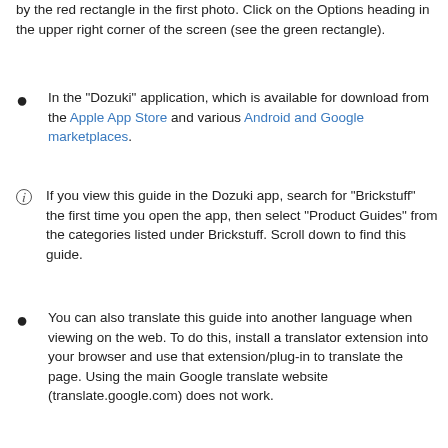by the red rectangle in the first photo. Click on the Options heading in the upper right corner of the screen (see the green rectangle).
In the "Dozuki" application, which is available for download from the Apple App Store and various Android and Google marketplaces.
If you view this guide in the Dozuki app, search for "Brickstuff" the first time you open the app, then select "Product Guides" from the categories listed under Brickstuff. Scroll down to find this guide.
You can also translate this guide into another language when viewing on the web. To do this, install a translator extension into your browser and use that extension/plug-in to translate the page. Using the main Google translate website (translate.google.com) does not work.